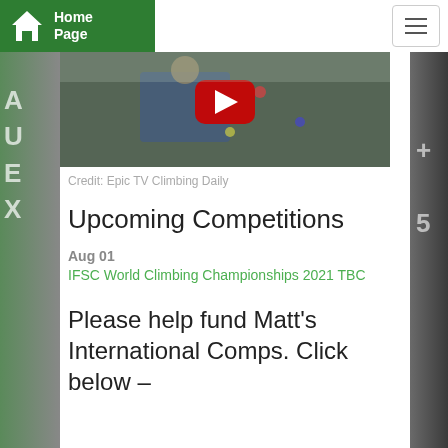Home Page
[Figure (screenshot): Video thumbnail showing a climber on an indoor climbing wall with a red YouTube play button overlay]
Credit: Epic TV Climbing Daily
Upcoming Competitions
Aug 01
IFSC World Climbing Championships 2021 TBC
Please help fund Matt’s International Comps. Click below –